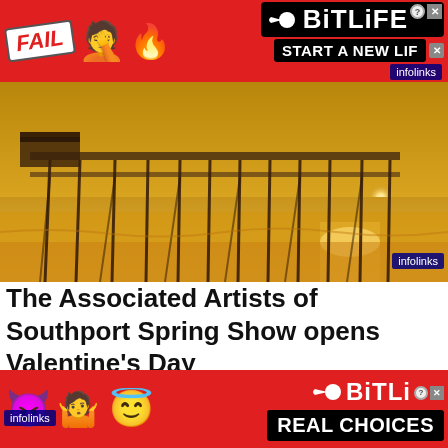[Figure (screenshot): BitLife mobile game advertisement banner with red background, 'FAIL' badge, facepalm emoji, flame emoji, sperm logo, and 'START A NEW LIF' text]
[Figure (photo): Beach pier at sunset/golden hour with warm orange and yellow tones reflecting on the water, silhouetted pier structure]
The Associated Artists of Southport Spring Show opens Valentine's Day
[Figure (screenshot): Minnie Mouse character photo with infolinks badge, partial view of Disney character encounter]
[Figure (screenshot): BitLife mobile game advertisement with red background, devil emoji, woman emoji, angel emoji, sperm logo, and 'REAL CHOICES' text in black box]